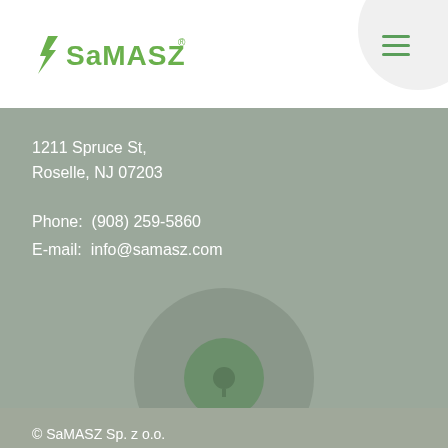[Figure (logo): SaMASZ company logo with stylized lightning bolt and green text]
1211 Spruce St,
Roselle, NJ 07203
Phone:  (908) 259-5860
E-mail:  info@samasz.com
© SaMASZ Sp. z o.o.
Terms and conditions of using the website